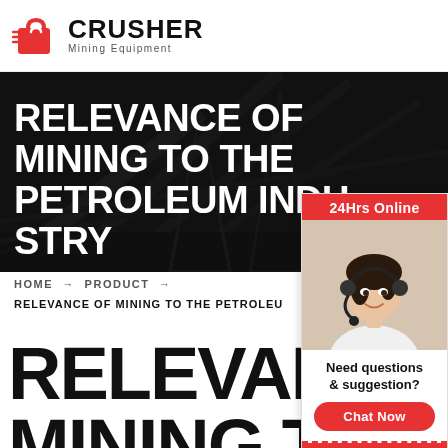[Figure (logo): Crusher Mining Equipment logo with red shopping bag icon and bold black CRUSHER text above Mining Equipment subtitle]
[Figure (photo): Dark industrial mining background image with steel structures and conveyor belt silhouettes]
RELEVANCE OF MINING TO THE PETROLEUM INDUSTRY
HOME → PRODUCT → RELEVANCE OF MINING TO THE PETROLEU
RELEVANCE OF MINING TO T
[Figure (photo): 24Hrs Online customer service representative — woman with headset smiling, sidebar panel with red header, Chat Now button, Enquiry link, and email limingjlmofen@sina.com]
Need questions & suggestion?
Chat Now
Enquiry
limingjlmofen@sina.com